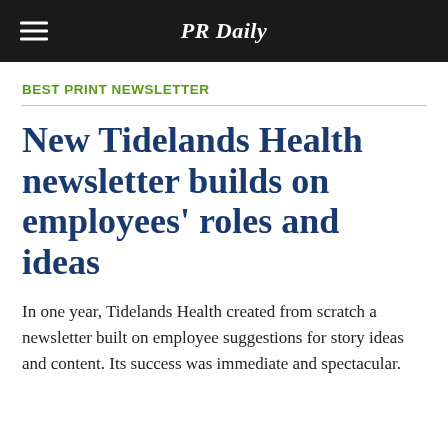PR Daily
BEST PRINT NEWSLETTER
New Tidelands Health newsletter builds on employees' roles and ideas
In one year, Tidelands Health created from scratch a newsletter built on employee suggestions for story ideas and content. Its success was immediate and spectacular.